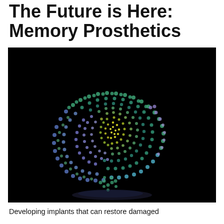The Future is Here: Memory Prosthetics
[Figure (photo): A stylized illustration of a human brain formed by concentric rings of colorful dots (green, teal, blue, purple, yellow, olive) on a black background, resembling a digital or neural network visualization.]
Developing implants that can restore damaged